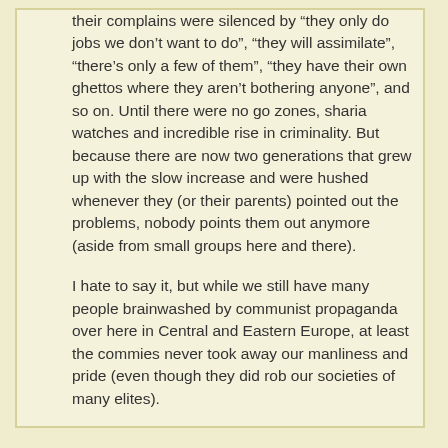their complains were silenced by “they only do jobs we don’t want to do”, “they will assimilate”, “there’s only a few of them”, “they have their own ghettos where they aren’t bothering anyone”, and so on. Until there were no go zones, sharia watches and incredible rise in criminality. But because there are now two generations that grew up with the slow increase and were hushed whenever they (or their parents) pointed out the problems, nobody points them out anymore (aside from small groups here and there).
I hate to say it, but while we still have many people brainwashed by communist propaganda over here in Central and Eastern Europe, at least the commies never took away our manliness and pride (even though they did rob our societies of many elites).